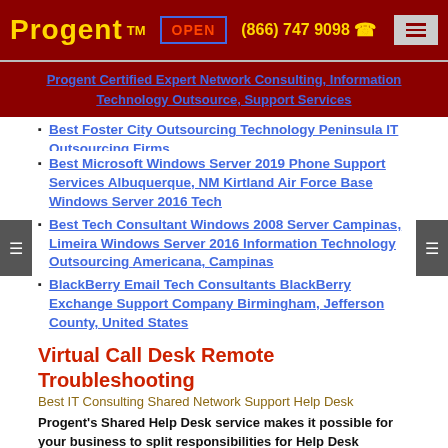Progent™ OPEN (866) 747 9098
Progent Certified Expert Network Consulting, Information Technology Outsource, Support Services
Best Foster City Outsourcing Technology Peninsula IT Outsourcing Firms
Best Microsoft Windows Server 2019 Phone Support Services Albuquerque, NM Kirtland Air Force Base Windows Server 2016 Tech
Best Tech Consultant Windows 2008 Server Campinas, Limeira Windows Server 2016 Information Technology Outsourcing Americana, Campinas
BlackBerry Email Tech Consultants BlackBerry Exchange Support Company Birmingham, Jefferson County, United States
Virtual Call Desk Remote Troubleshooting
Best IT Consulting Shared Network Support Help Desk
Progent's Shared Help Desk service makes it possible for your business to split responsibilities for Help Desk services seamlessly between your in-house IT team and Progent's